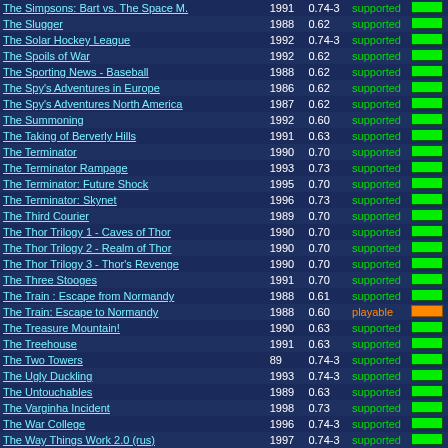| Name | Year | Version | Status | Bar |
| --- | --- | --- | --- | --- |
| The Simpsons: Bart vs. The Space M. | 1991 | 0.74-3 | supported |  |
| The Slugger | 1988 | 0.62 | supported |  |
| The Solar Hockey League | 1992 | 0.74-3 | supported |  |
| The Spoils of War | 1992 | 0.62 | supported |  |
| The Sporting News - Baseball | 1988 | 0.62 | supported |  |
| The Spy's Adventures in Europe | 1986 | 0.62 | supported |  |
| The Spy's Adventures North America | 1987 | 0.62 | supported |  |
| The Summoning | 1992 | 0.60 | supported |  |
| The Taking of Berverly Hills | 1991 | 0.63 | supported |  |
| The Terminator | 1990 | 0.70 | supported |  |
| The Terminator Rampage | 1993 | 0.73 | supported |  |
| The Terminator: Future Shock | 1995 | 0.70 | supported |  |
| The Terminator: Skynet | 1996 | 0.73 | supported |  |
| The Third Courier | 1989 | 0.70 | supported |  |
| The Thor Trilogy 1 - Caves of Thor | 1990 | 0.70 | supported |  |
| The Thor Trilogy 2 - Realm of Thor | 1990 | 0.70 | supported |  |
| The Thor Trilogy 3 - Thor's Revenge | 1990 | 0.70 | supported |  |
| The Three Stooges | 1991 | 0.70 | supported |  |
| The Train : Escape from Normandy | 1988 | 0.61 | supported |  |
| The Train: Escape to Normandy | 1988 | 0.60 | playable |  |
| The Treasure Mountain! | 1990 | 0.63 | supported |  |
| The Treehouse | 1991 | 0.63 | supported |  |
| The Two Towers | 89 | 0.74-3 | supported |  |
| The Ugly Duckling | 1993 | 0.74-3 | supported |  |
| The Untouchables | 1989 | 0.63 | supported |  |
| The Varginha Incident | 1998 | 0.73 | supported |  |
| The War College | 1996 | 0.74-3 | supported |  |
| The Way Things Work 2.0 (rus) | 1997 | 0.74-3 | supported |  |
| The Wild Science Arcade | 1993 | 0.74-3 | supported |  |
| The Witness | 1983 | 0.65 | supported |  |
| The Wizard of Oz | 1985 | 0.63 | supported |  |
| The World's Greatest Baseball Game | 1985 | 0.63 | supported |  |
| The... | 1991 | 0.6? | supported |  |